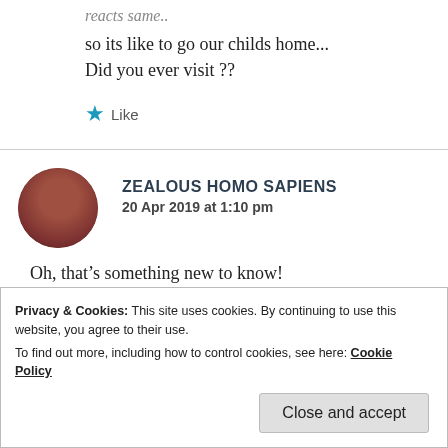reacts same..
so its like to go our childs home...
Did you ever visit ??
★ Like
ZEALOUS HOMO SAPIENS
20 Apr 2019 at 1:10 pm
Oh, that's something new to know!
Privacy & Cookies: This site uses cookies. By continuing to use this website, you agree to their use.
To find out more, including how to control cookies, see here: Cookie Policy
Close and accept